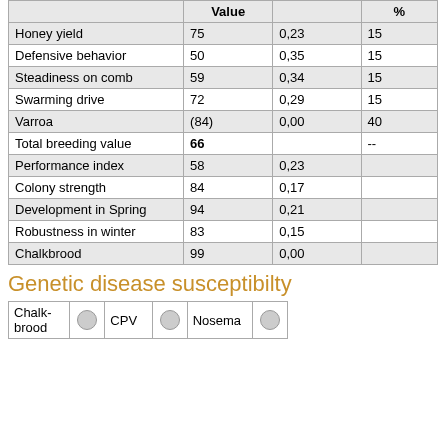|  | Value |  | % |
| --- | --- | --- | --- |
| Honey yield | 75 | 0,23 | 15 |
| Defensive behavior | 50 | 0,35 | 15 |
| Steadiness on comb | 59 | 0,34 | 15 |
| Swarming drive | 72 | 0,29 | 15 |
| Varroa | (84) | 0,00 | 40 |
| Total breeding value | 66 |  | -- |
| Performance index | 58 | 0,23 |  |
| Colony strength | 84 | 0,17 |  |
| Development in Spring | 94 | 0,21 |  |
| Robustness in winter | 83 | 0,15 |  |
| Chalkbrood | 99 | 0,00 |  |
Genetic disease susceptibilty
| Chalk-brood |  | CPV |  | Nosema |  |
| --- | --- | --- | --- | --- | --- |